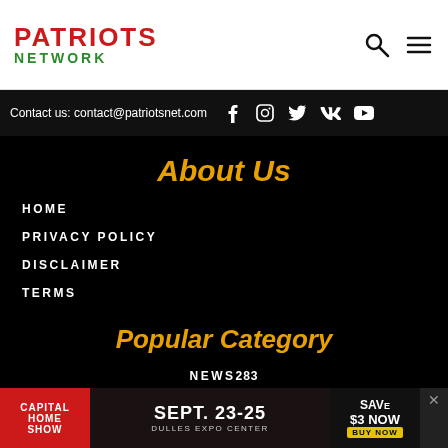PATRIOTS NETWORK
Contact us: contact@patriotsnet.com
About Us
HOME
PRIVACY POLICY
DISCLAIMER
TERMS
Popular Category
NEWS 283
EXCLUSIVE 249
POPULAR 217
MUST READ 195
[Figure (infographic): Capital Home Show advertisement banner: SEPT. 23-25, DULLES EXPO CENTER, SAVE $3 NOW BUY NOW]